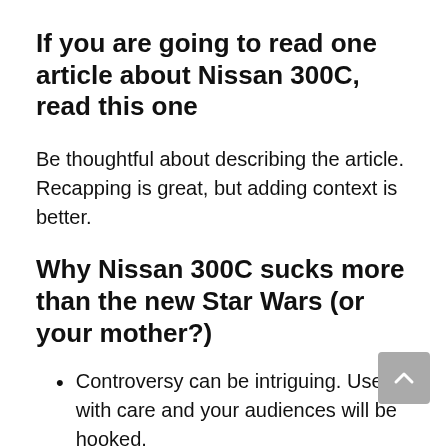If you are going to read one article about Nissan 300C, read this one
Be thoughtful about describing the article. Recapping is great, but adding context is better.
Why Nissan 300C sucks more than the new Star Wars (or your mother?)
Controversy can be intriguing. Use it with care and your audiences will be hooked.